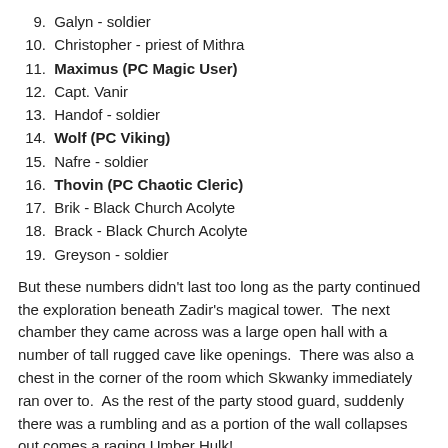9. Galyn - soldier
10. Christopher - priest of Mithra
11. Maximus (PC Magic User)
12. Capt. Vanir
13. Handof - soldier
14. Wolf (PC Viking)
15. Nafre - soldier
16. Thovin (PC Chaotic Cleric)
17. Brik - Black Church Acolyte
18. Brack - Black Church Acolyte
19. Greyson - soldier
But these numbers didn't last too long as the party continued the exploration beneath Zadir's magical tower.  The next chamber they came across was a large open hall with a number of tall rugged cave like openings.  There was also a chest in the corner of the room which Skwanky immediately ran over to.  As the rest of the party stood guard, suddenly there was a rumbling and as a portion of the wall collapses out comes a raging Umber Hulk!